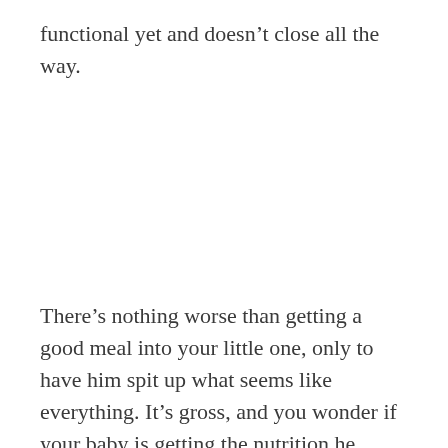functional yet and doesn’t close all the way.
There’s nothing worse than getting a good meal into your little one, only to have him spit up what seems like everything. It’s gross, and you wonder if your baby is getting the nutrition he